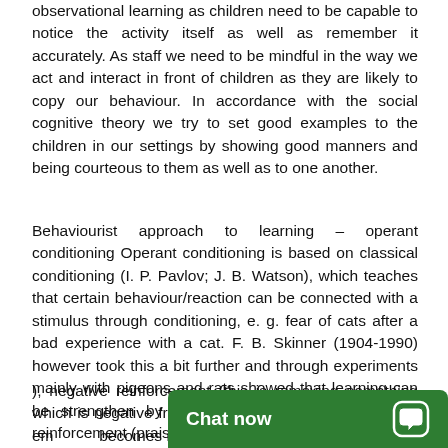observational learning as children need to be capable to notice the activity itself as well as remember it accurately. As staff we need to be mindful in the way we act and interact in front of children as they are likely to copy our behaviour. In accordance with the social cognitive theory we try to set good examples to the children in our settings by showing good manners and being courteous to them as well as to one another.
Behaviourist approach to learning – operant conditioning Operant conditioning is based on classical conditioning (I. P. Pavlov; J. B. Watson), which teaches that certain behaviour/reaction can be connected with a stimulus through conditioning, e. g. fear of cats after a bad experience with a cat. F. B. Skinner (1904-1990) however took this a bit further and through experiments mainly with pigeons and rats showed that learning can be strengthen by reinforcements, such as positive reinforcement (praise, sticker, attention, etc.
), negative reinforcement (this is removing something which is negative from the situ or causes negative em becomes more positive